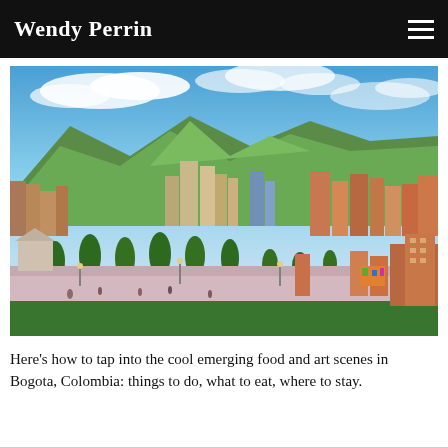Wendy Perrin
[Figure (photo): Aerial view of Bogota, Colombia showing colorful city buildings with green forested mountains in the background and a palm-tree lined boulevard in the foreground under a bright blue sky with clouds.]
Here’s how to tap into the cool emerging food and art scenes in Bogota, Colombia: things to do, what to eat, where to stay.